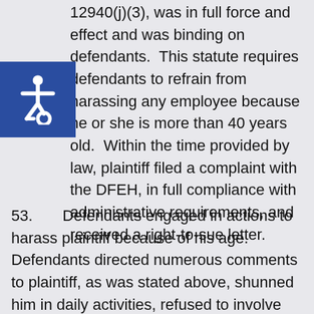12940(j)(3), was in full force and effect and was binding on defendants. This statute requires defendants to refrain from harassing any employee because he or she is more than 40 years old. Within the time provided by law, plaintiff filed a complaint with the DFEH, in full compliance with administrative requirements, and received a right-to-sue letter.
53.      Defendants engaged in actions to harass plaintiff because of his age. Defendants directed numerous comments to plaintiff, as was stated above, shunned him in daily activities, refused to involve him in